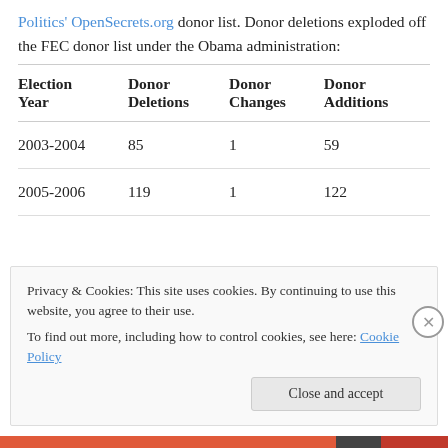Politics' OpenSecrets.org donor list. Donor deletions exploded off the FEC donor list under the Obama administration:
| Election Year | Donor Deletions | Donor Changes | Donor Additions |
| --- | --- | --- | --- |
| 2003-2004 | 85 | 1 | 59 |
| 2005-2006 | 119 | 1 | 122 |
Privacy & Cookies: This site uses cookies. By continuing to use this website, you agree to their use.
To find out more, including how to control cookies, see here: Cookie Policy
Close and accept